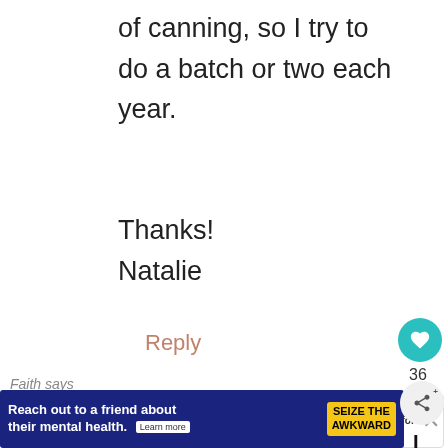of canning, so I try to do a batch or two each year.
Thanks!
Natalie
Reply
36
Faith says
AUGUST 21, 2020 AT 8:51 PM
[Figure (other): What's Next promotional box with salsa recipe for canning image]
I forgot the salt will it hurt it ? I pray
[Figure (other): Ad banner: Reach out to a friend about their mental health. Learn more. SEIZE THE AWKWARD.]